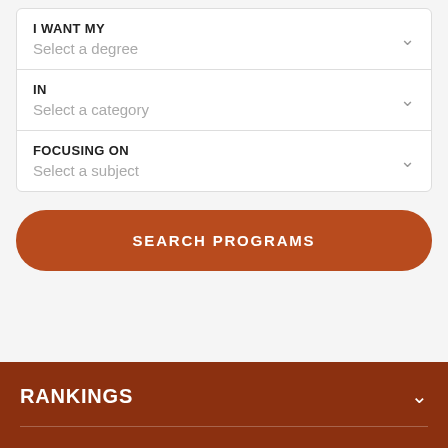I WANT MY
Select a degree
IN
Select a category
FOCUSING ON
Select a subject
SEARCH PROGRAMS
RANKINGS
DEGREES